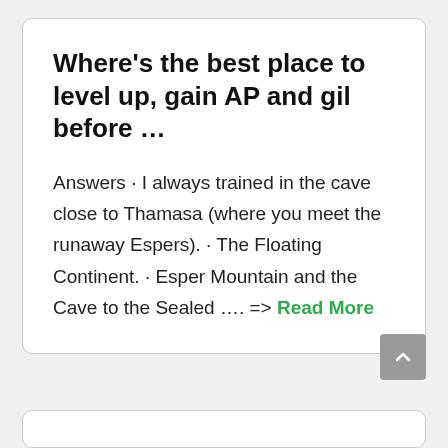Where's the best place to level up, gain AP and gil before ...
Answers · I always trained in the cave close to Thamasa (where you meet the runaway Espers). · The Floating Continent. · Esper Mountain and the Cave to the Sealed .... => Read More